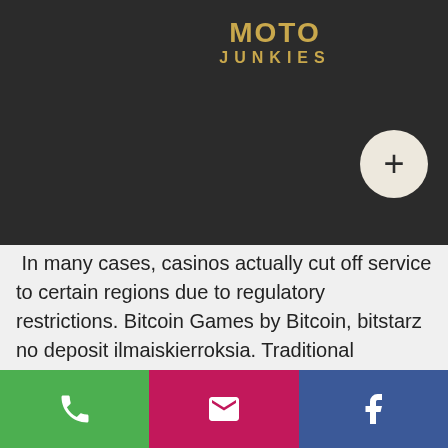[Figure (logo): Moto Junkies logo on dark background with a plus/add button circle]
ep.
Forum
osit
이이이 + 이이
In many cases, casinos actually cut off service to certain regions due to regulatory restrictions. Bitcoin Games by Bitcoin, bitstarz no deposit ilmaiskierroksia. Traditional bookmakers use many payment methods to get your money to you, but all of these require a processing time to get the funds across and into your account, bitstarz.com отзывы. With Cryptocurrency, the transfer is done instantly, so all you have to wait for is the approval of your bookmaker and for them to send the money across to you. Funding ' Some crypto casinos will only support cryptocurrency deposits, or perhaps
[Figure (infographic): Footer bar with three buttons: green phone, pink email, blue Facebook]